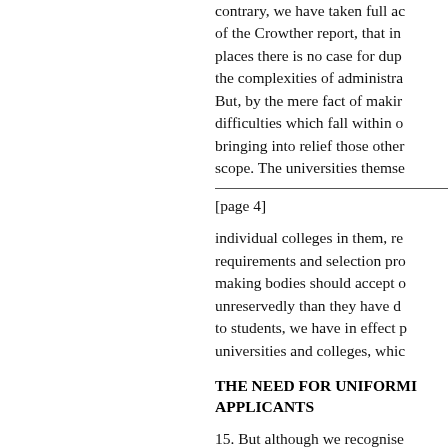contrary, we have taken full account of the Crowther report, that in places there is no case for dup the complexities of administra But, by the mere fact of makir difficulties which fall within o bringing into relief those other scope. The universities themse
[page 4]
individual colleges in them, re requirements and selection pro making bodies should accept o unreservedly than they have d to students, we have in effect p universities and colleges, whic
THE NEED FOR UNIFORMI APPLICANTS
15. But although we recognise on the influence we can or sho impressed by the opinion, exp consulted, that applications b